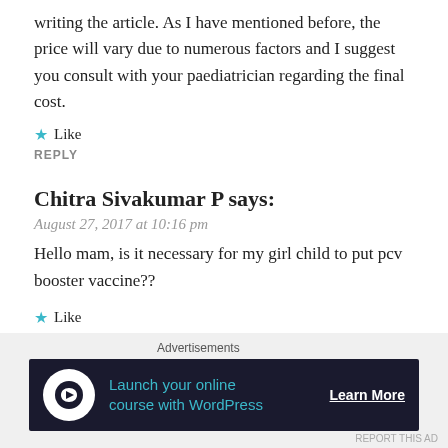writing the article. As I have mentioned before, the price will vary due to numerous factors and I suggest you consult with your paediatrician regarding the final cost.
★ Like
REPLY
Chitra Sivakumar P says:
August 27, 2017 at 10:16 pm
Hello mam, is it necessary for my girl child to put pcv booster vaccine??
★ Like
REPLY
[Figure (screenshot): Advertisement banner: Launch your online course with WordPress, Learn More button]